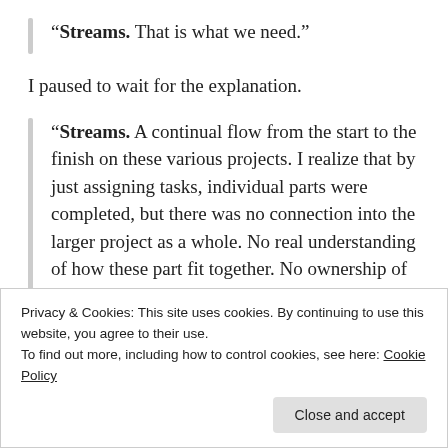“Streams. That is what we need.”
I paused to wait for the explanation.
“Streams. A continual flow from the start to the finish on these various projects. I realize that by just assigning tasks, individual parts were completed, but there was no connection into the larger project as a whole. No real understanding of how these part fit together. No ownership of the whole.”
Privacy & Cookies: This site uses cookies. By continuing to use this website, you agree to their use.
To find out more, including how to control cookies, see here: Cookie Policy
flow through the entire part of project. I